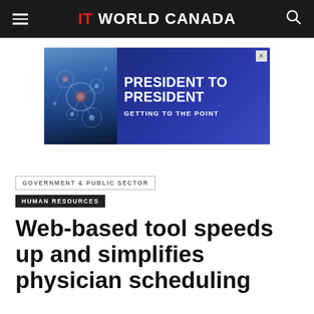IT WORLD CANADA
[Figure (illustration): Advertisement banner with dark blue background and molecular/tech imagery on the left. Text reads: PRESIDENT TO PRESIDENT GETTING TO THE POINT]
GOVERNMENT & PUBLIC SECTOR
HUMAN RESOURCES
Web-based tool speeds up and simplifies physician scheduling